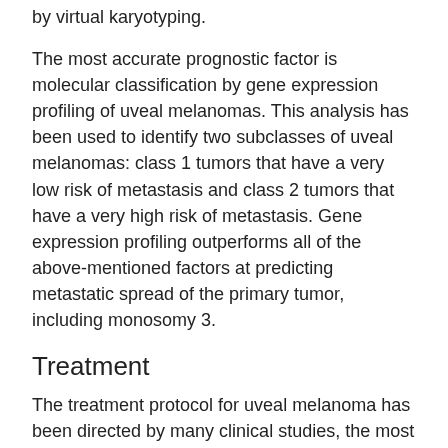by virtual karyotyping.
The most accurate prognostic factor is molecular classification by gene expression profiling of uveal melanomas. This analysis has been used to identify two subclasses of uveal melanomas: class 1 tumors that have a very low risk of metastasis and class 2 tumors that have a very high risk of metastasis. Gene expression profiling outperforms all of the above-mentioned factors at predicting metastatic spread of the primary tumor, including monosomy 3.
Treatment
The treatment protocol for uveal melanoma has been directed by many clinical studies, the most important being "The Collaborative Ocular Melanoma Study" (COMS). The treatment varies depending upon many factors, chief among them, the size of the tumor. Primary treatment can involve removal of the affected eye (enucleation); however, this is now reserved for cases of extreme tumor burden or other secondary problems. Advances in radiation therapies have significantly decreased the number of patients treated by enucleation in developed countries. The most common radiation treatment is plaque brachytherapy, in which a small